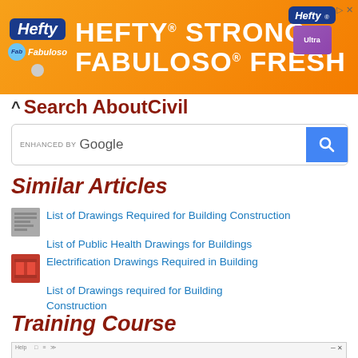[Figure (other): Hefty Strong Fabuloso Fresh advertisement banner with orange background]
Search AboutCivil
[Figure (screenshot): Google-enhanced search bar with blue search button]
Similar Articles
List of Drawings Required for Building Construction
List of Public Health Drawings for Buildings
Electrification Drawings Required in Building
List of Drawings required for Building Construction
Training Course
[Figure (screenshot): Training course software window preview with colorful structural diagram]